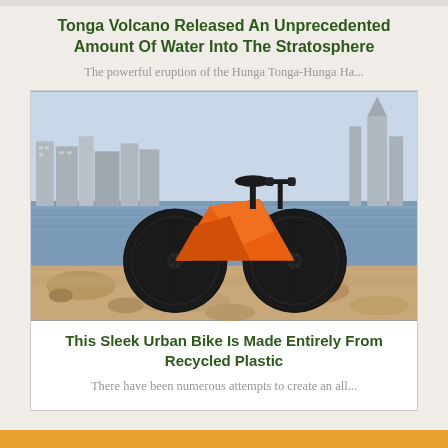Tonga Volcano Released An Unprecedented Amount Of Water Into The Stratosphere
The powerful eruption of the Hunga Tonga-Hunga Ha...
[Figure (photo): An orange urban bicycle with large black spoke wheels, parked on a rocky surface near a river, with a city skyline in the background.]
This Sleek Urban Bike Is Made Entirely From Recycled Plastic
There have been numerous attempts to create an all...